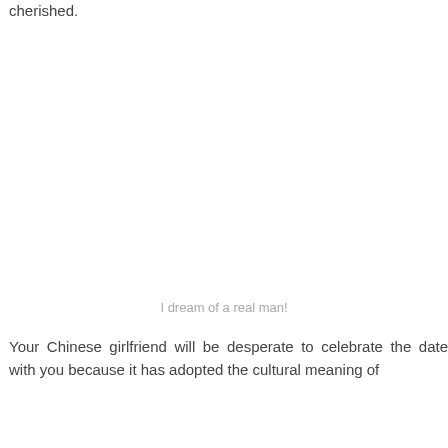cherished.
I dream of a real man!
Your Chinese girlfriend will be desperate to celebrate the date with you because it has adopted the cultural meaning of